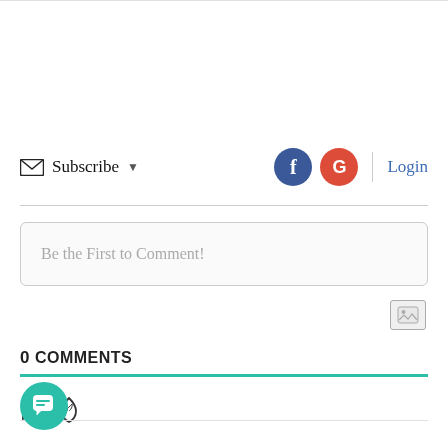Subscribe  Login
Be the First to Comment!
0 COMMENTS
[Figure (screenshot): Sort icons — bookmark and fire/trending icons below comments heading]